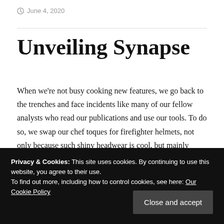June 4, 2020
Unveiling Synapse
When we're not busy cooking new features, we go back to the trenches and face incidents like many of our fellow analysts who read our publications and use our tools. To do so, we swap our chef toques for firefighter helmets, not only because such shiny headwear is cool, but mainly
Privacy & Cookies: This site uses cookies. By continuing to use this website, you agree to their use.
To find out more, including how to control cookies, see here: Our Cookie Policy
everything from cats in trees (spam) to major fire (APT).